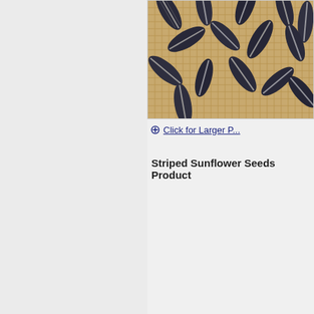[Figure (photo): Photo of striped sunflower seeds piled on a burlap/jute fabric background]
Click for Larger P...
Striped Sunflower Seeds Product
| Name |
| Size |
| Variety |
| Use |
| Feature |
| Moisture |
| Grade |